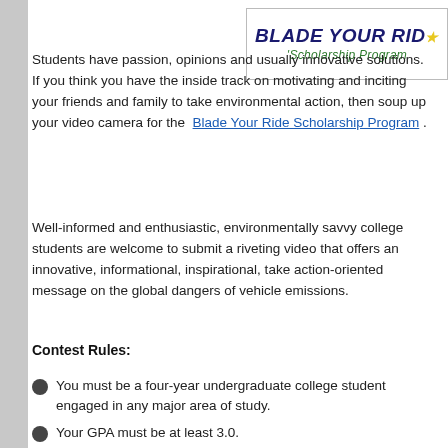[Figure (logo): Blade Your Ride Scholarship Program logo with bold dark blue italic text and green handwritten subtitle]
Students have passion, opinions and usually innovative solutions. If you think you have the inside track on motivating and inciting your friends and family to take environmental action, then soup up your video camera for the Blade Your Ride Scholarship Program .
Well-informed and enthusiastic, environmentally savvy college students are welcome to submit a riveting video that offers an innovative, informational, inspirational, take action-oriented message on the global dangers of vehicle emissions.
Contest Rules:
You must be a four-year undergraduate college student engaged in any major area of study.
Your GPA must be at least 3.0.
Contest is open to international students.